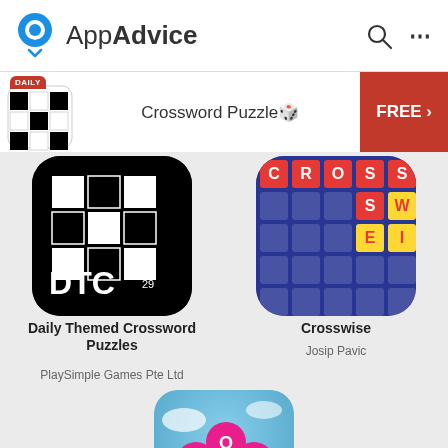AppAdvice
[Figure (screenshot): AppAdvice app category page showing Crossword Puzzle apps: Daily Themed Crossword Puzzles (PlaySimple Games Pte Ltd), Crosswise (Josip Pavic), and Word Peace (Apprope)]
Crossword Puzzle🎲
FREE ›
Daily Themed Crossword Puzzles
PlaySimple Games Pte Ltd
Crosswise
Josip Pavic
Word Peace
Apprope